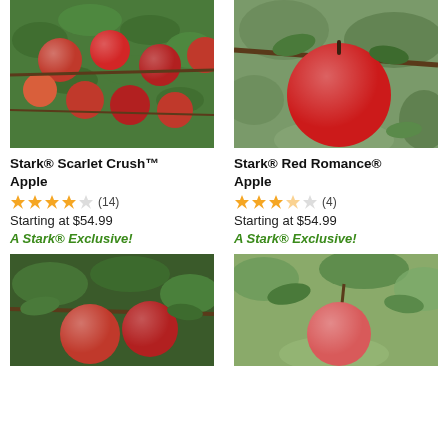[Figure (photo): Apple tree branch loaded with multiple red apples and green leaves — Stark Scarlet Crush Apple]
[Figure (photo): Single large shiny red apple on a branch with leaves — Stark Red Romance Apple]
Stark® Scarlet Crush™ Apple
★★★★☆ (14)
Starting at $54.99
A Stark® Exclusive!
Stark® Red Romance® Apple
★★★★☆ (4)
Starting at $54.99
A Stark® Exclusive!
[Figure (photo): Two red apples on a tree branch with green leaves — bottom left product]
[Figure (photo): Close-up of a small round pink-red apple on a branch with green leaves — bottom right product]